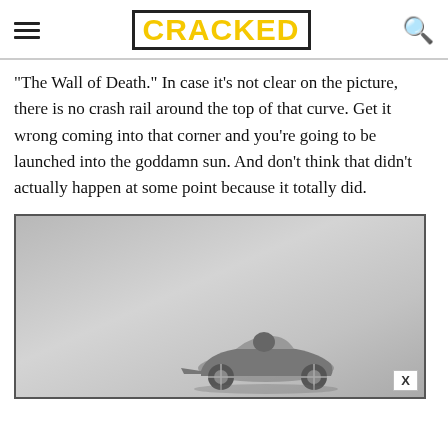CRACKED
"The Wall of Death." In case it's not clear on the picture, there is no crash rail around the top of that curve. Get it wrong coming into that corner and you're going to be launched into the goddamn sun. And don't think that didn't actually happen at some point because it totally did.
[Figure (photo): Black and white vintage photograph of a racing car on what appears to be a banked track or ramp, the car is small and positioned in the lower left portion of the frame against a grey background.]